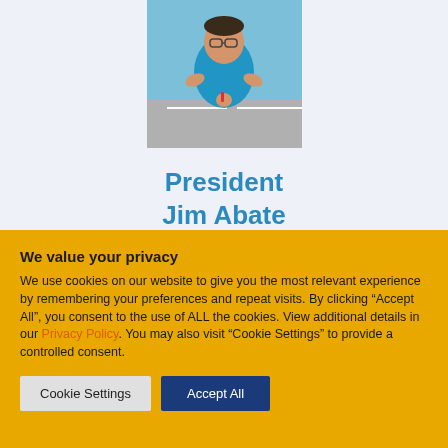[Figure (photo): Photo of President Jim Abate, a man wearing a blue polo shirt and glasses, taking a selfie outdoors in a parking lot.]
President
Jim Abate
We value your privacy
We use cookies on our website to give you the most relevant experience by remembering your preferences and repeat visits. By clicking “Accept All”, you consent to the use of ALL the cookies. View additional details in our Privacy Policy. You may also visit “Cookie Settings” to provide a controlled consent.